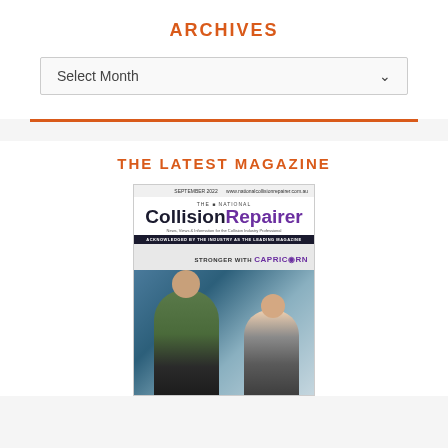ARCHIVES
Select Month
THE LATEST MAGAZINE
[Figure (illustration): Magazine cover of The National Collision Repairer, September 2022 issue, featuring two people in an automotive workshop. Text includes 'STRONGER WITH CAPRICORN'.]